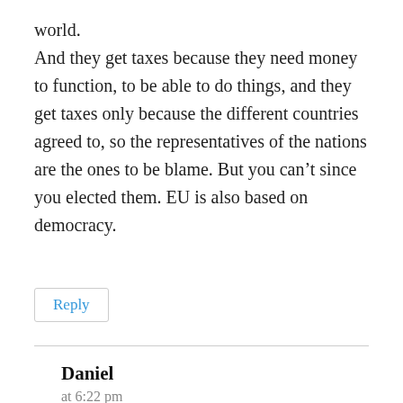world. And they get taxes because they need money to function, to be able to do things, and they get taxes only because the different countries agreed to, so the representatives of the nations are the ones to be blame. But you can't since you elected them. EU is also based on democracy.
Reply
Daniel
at 6:22 pm
I respect your comment, but why should